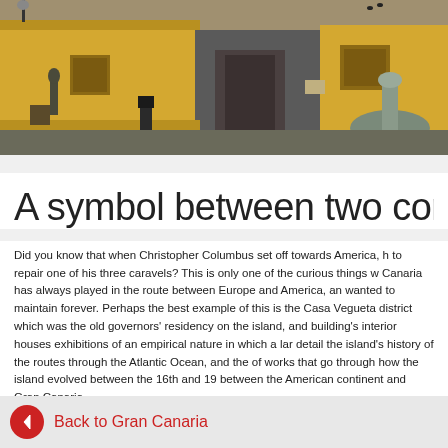[Figure (photo): Street scene showing colorful yellow colonial buildings with stone fountain in foreground, wooden doors, and a bronze statue on the left side — Vegueta district, Gran Canaria]
A symbol between two cont
Did you know that when Christopher Columbus set off towards America, h to repair one of his three caravels? This is only one of the curious things w Canaria has always played in the route between Europe and America, an wanted to maintain forever. Perhaps the best example of this is the Casa Vegueta district which was the old governors' residency on the island, and building's interior houses exhibitions of an empirical nature in which a lar detail the island's history of the routes through the Atlantic Ocean, and the of works that go through how the island evolved between the 16th and 19 between the American continent and Gran Canaria.
Back to Gran Canaria